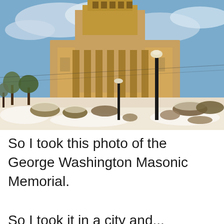[Figure (photo): Photograph of the George Washington Masonic Memorial building in winter. The large neoclassical building with a tall tower is shown against a blue sky with clouds. The foreground features snow-covered grounds with trees, shrubs, and a dark lamp post.]
So I took this photo of the George Washington Masonic Memorial.
So I took it in a city and...